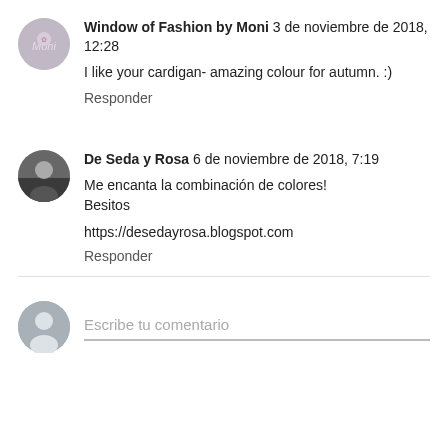Window of Fashion by Moni 3 de noviembre de 2018, 12:28
I like your cardigan- amazing colour for autumn. :)
Responder
De Seda y Rosa 6 de noviembre de 2018, 7:19
Me encanta la combinación de colores!
Besitos
https://desedayrosa.blogspot.com
Responder
Escribe tu comentario